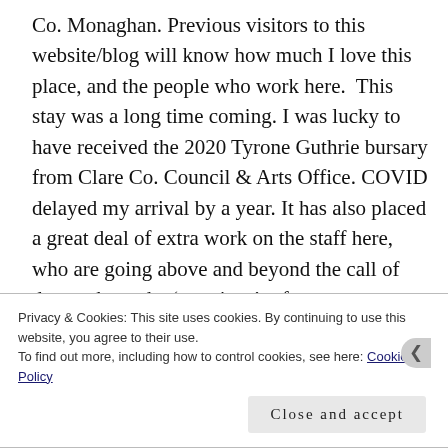Co. Monaghan. Previous visitors to this website/blog will know how much I love this place, and the people who work here.  This stay was a long time coming. I was lucky to have received the 2020 Tyrone Guthrie bursary from Clare Co. Council & Arts Office. COVID delayed my arrival by a year. It has also placed a great deal of extra work on the staff here, who are going above and beyond the call of duty to keep the ‘creatives’ safe.
This time I’m in the John Jordan room, and I like it very much. I especially like the artefacts that once belonged to
Privacy & Cookies: This site uses cookies. By continuing to use this website, you agree to their use.
To find out more, including how to control cookies, see here: Cookie Policy
Close and accept